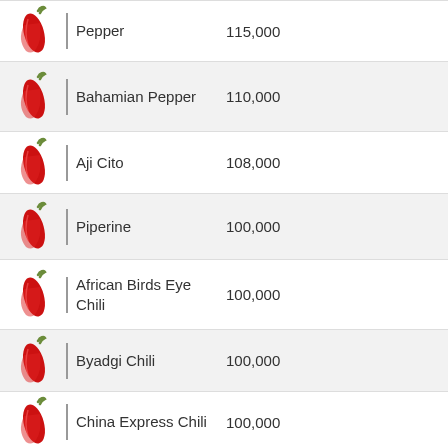Pepper | 115,000
Bahamian Pepper | 110,000
Aji Cito | 108,000
Piperine | 100,000
African Birds Eye Chili | 100,000
Byadgi Chili | 100,000
China Express Chili | 100,000